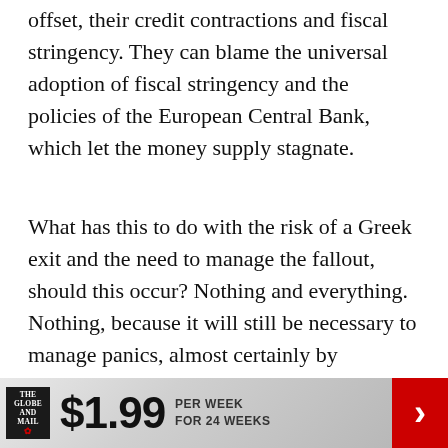offset, their credit contractions and fiscal stringency. They can blame the universal adoption of fiscal stringency and the policies of the European Central Bank, which let the money supply stagnate.
What has this to do with the risk of a Greek exit and the need to manage the fallout, should this occur? Nothing and everything. Nothing, because it will still be necessary to manage panics, almost certainly by unlimited ECB support, as Jacek Rostowski, Poland's finance minister has argued in the FT. Everything, because with large divergences in competitiveness, weak fiscal solidarity and fragile
[Figure (infographic): The Globe and Mail subscription advertisement banner: logo on left, $1.99 price, 'PER WEEK FOR 24 WEEKS' text, red arrow button on right.]